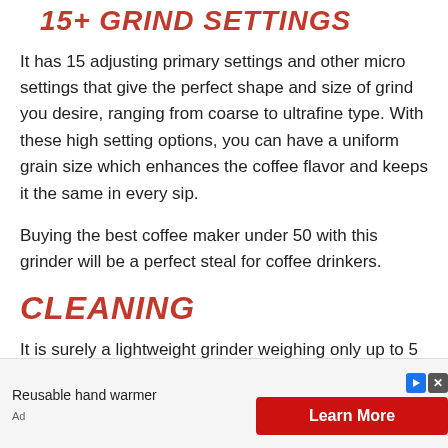15+ GRIND SETTINGS
It has 15 adjusting primary settings and other micro settings that give the perfect shape and size of grind you desire, ranging from coarse to ultrafine type. With these high setting options, you can have a uniform grain size which enhances the coffee flavor and keeps it the same in every sip.
Buying the best coffee maker under 50 with this grinder will be a perfect steal for coffee drinkers.
CLEANING
It is surely a lightweight grinder weighing only up to 5 lbs with a stainless steel body and good quality blades. But it can be a little tricky to clean as its screws, and micro spaces can easily choke. You
Reusable hand warmer
Ad
Learn More